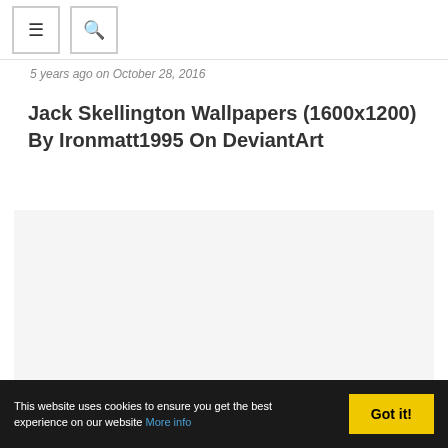≡  🔍
5 years ago on October 28, 2016
Jack Skellington Wallpapers (1600x1200) By Ironmatt1995 On DeviantArt
[Figure (other): Large white/light gray image placeholder area for the Jack Skellington wallpaper content]
This website uses cookies to ensure you get the best experience on our website More info  Got it!